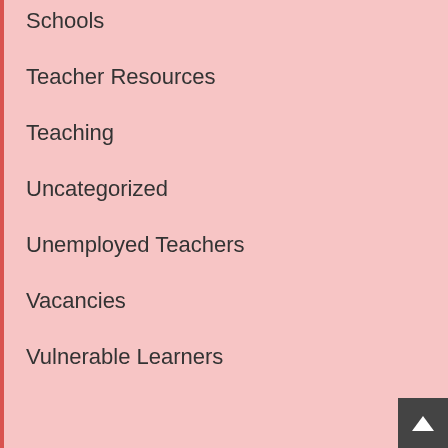Schools
Teacher Resources
Teaching
Uncategorized
Unemployed Teachers
Vacancies
Vulnerable Learners
[Figure (logo): EdUpStairs logo with South Africa map icon and tagline: Fostering a Growth Mindset Lifestyle in our Learners]
WE NEED YOUR